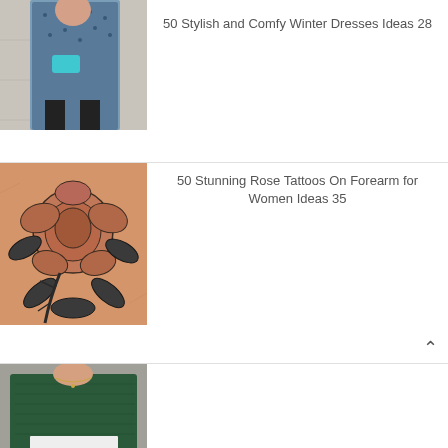[Figure (photo): Person wearing a blue patterned winter dress with black boots and a teal clutch, street style fashion photo]
50 Stylish and Comfy Winter Dresses Ideas 28
[Figure (photo): Rose tattoo on forearm, black and grey ink with detailed shading on skin-toned arm]
50 Stunning Rose Tattoos On Forearm for Women Ideas 35
[Figure (photo): Person wearing a dark green knit sweater with white undershirt, partial street style photo]